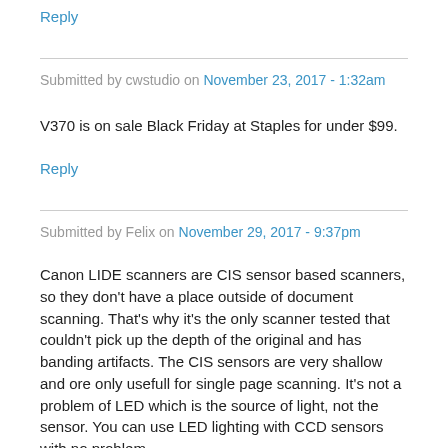Reply
Submitted by cwstudio on November 23, 2017 - 1:32am
V370 is on sale Black Friday at Staples for under $99.
Reply
Submitted by Felix on November 29, 2017 - 9:37pm
Canon LIDE scanners are CIS sensor based scanners, so they don't have a place outside of document scanning. That's why it's the only scanner tested that couldn't pick up the depth of the original and has banding artifacts. The CIS sensors are very shallow and ore only usefull for single page scanning. It's not a problem of LED which is the source of light, not the sensor. You can use LED lighting with CCD sensors with no problem.
The EPSON DS50000 is capable of 16bit/colour which translates into the 48bit/RGB. Unfortunately the included software only outputs normal 8bit (24bit/RGB) which is the real bummer.
As a final note, if you scan artwork and need accurate colour and